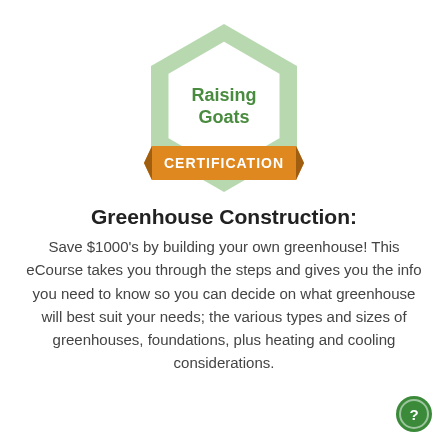[Figure (logo): Hexagonal badge with light green border, white inner hexagon outline, text 'Raising Goats' in green bold font, and an orange ribbon banner at the bottom reading 'CERTIFICATION' in white bold uppercase letters.]
Greenhouse Construction:
Save $1000's by building your own greenhouse! This eCourse takes you through the steps and gives you the info you need to know so you can decide on what greenhouse will best suit your needs; the various types and sizes of greenhouses, foundations, plus heating and cooling considerations.